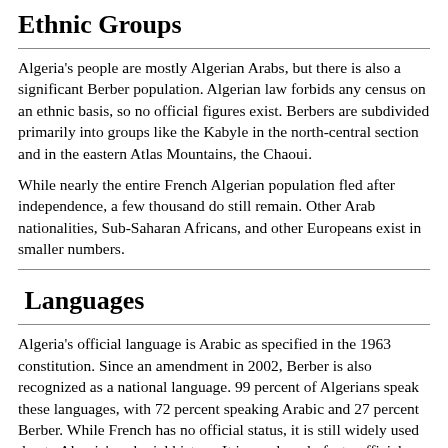Ethnic Groups
Algeria's people are mostly Algerian Arabs, but there is also a significant Berber population. Algerian law forbids any census on an ethnic basis, so no official figures exist. Berbers are subdivided primarily into groups like the Kabyle in the north-central section and in the eastern Atlas Mountains, the Chaoui.
While nearly the entire French Algerian population fled after independence, a few thousand do still remain. Other Arab nationalities, Sub-Saharan Africans, and other Europeans exist in smaller numbers.
Languages
Algeria's official language is Arabic as specified in the 1963 constitution. Since an amendment in 2002, Berber is also recognized as a national language. 99 percent of Algerians speak these languages, with 72 percent speaking Arabic and 27 percent Berber. While French has no official status, it is still widely used due to Algeria's colonial history. It is nearly a de-facto official